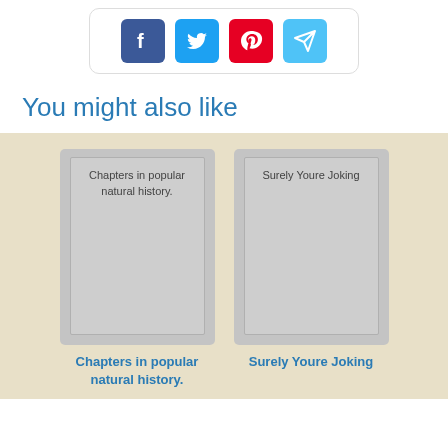[Figure (other): Social sharing buttons: Facebook (blue), Twitter (cyan), Pinterest (red), Send/mail (light blue) inside a rounded rectangle card]
You might also like
[Figure (illustration): Book cover placeholder for 'Chapters in popular natural history.' — grey card with inner border and title text]
[Figure (illustration): Book cover placeholder for 'Surely Youre Joking' — grey card with inner border and title text]
Chapters in popular natural history.
Surely Youre Joking